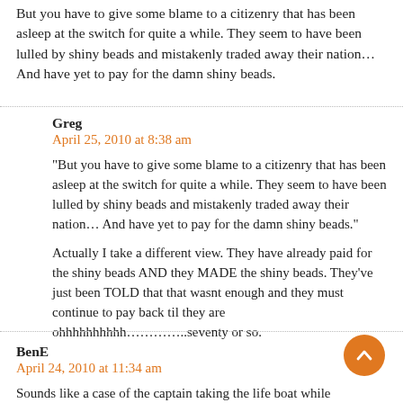But you have to give some blame to a citizenry that has been asleep at the switch for quite a while. They seem to have been lulled by shiny beads and mistakenly traded away their nation… And have yet to pay for the damn shiny beads.
Greg
April 25, 2010 at 8:38 am
“But you have to give some blame to a citizenry that has been asleep at the switch for quite a while. They seem to have been lulled by shiny beads and mistakenly traded away their nation… And have yet to pay for the damn shiny beads.”
Actually I take a different view. They have already paid for the shiny beads AND they MADE the shiny beads. They’ve just been TOLD that that wasnt enough and they must continue to pay back til they are ohhhhhhhhhh…………..seventy or so.
BenE
April 24, 2010 at 11:34 am
Sounds like a case of the captain taking the life boat while